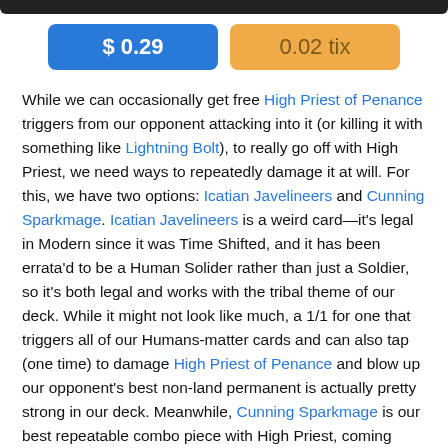[Figure (other): Dark top bar element at top of page]
$0.29
0.02 tix
While we can occasionally get free High Priest of Penance triggers from our opponent attacking into it (or killing it with something like Lightning Bolt), to really go off with High Priest, we need ways to repeatedly damage it at will. For this, we have two options: Icatian Javelineers and Cunning Sparkmage. Icatian Javelineers is a weird card—it's legal in Modern since it was Time Shifted, and it has been errata'd to be a Human Solider rather than just a Soldier, so it's both legal and works with the tribal theme of our deck. While it might not look like much, a 1/1 for one that triggers all of our Humans-matter cards and can also tap (one time) to damage High Priest of Penance and blow up our opponent's best non-land permanent is actually pretty strong in our deck. Meanwhile, Cunning Sparkmage is our best repeatable combo piece with High Priest, coming down with haste to ping High Priest of Penance and blow something up right away, and then allowing us to continue to blow up our